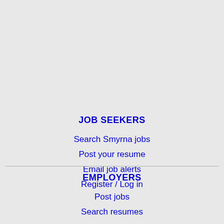JOB SEEKERS
Search Smyrna jobs
Post your resume
Email job alerts
Register / Log in
EMPLOYERS
Post jobs
Search resumes